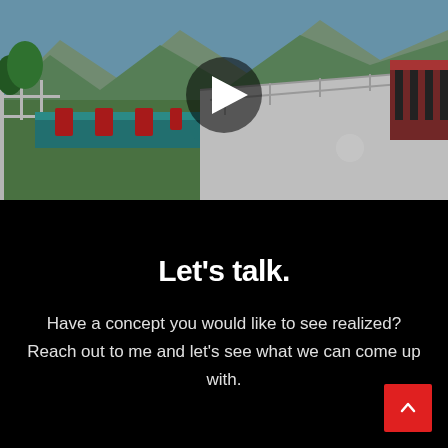[Figure (screenshot): 3D rendering screenshot of a Hyperloop / magnetic levitation transport tube system, viewed from track level. Shows a teal-colored elevated tube running into the distance on the left, with red magnetic components visible. A white pedestrian or test track runs parallel on the right behind a railing. Mountains, green trees, and a blue sky are visible in the background. A red-striped building structure is at the far right. A dark semi-transparent play button triangle overlay is centered on the image.]
Let's talk.
Have a concept you would like to see realized? Reach out to me and let's see what we can come up with.